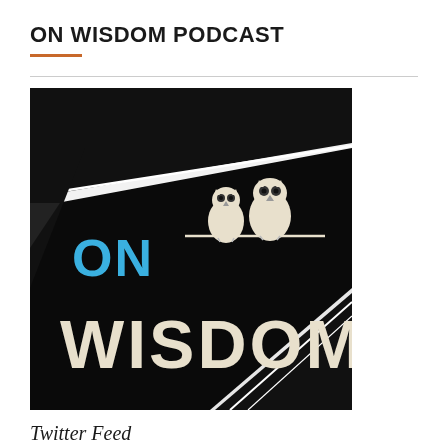ON WISDOM PODCAST
[Figure (logo): On Wisdom Podcast logo: black square background with diagonal white stripes/lines, text 'ON' in blue on the left, 'WISDOM' in large white text in the center-bottom, and two small white cartoon owls perched on a wire in the upper right area.]
Twitter Feed